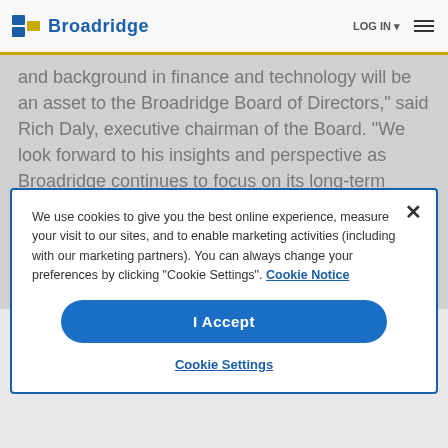Broadridge
and background in finance and technology will be an asset to the Broadridge Board of Directors," said Rich Daly, executive chairman of the Board. "We look forward to his insights and perspective as Broadridge continues to focus on its long-term growth, investing in next-gen technology and its business across governance, capital markets and wealth and investment management to help clients be ready for what's next."
We use cookies to give you the best online experience, measure your visit to our sites, and to enable marketing activities (including with our marketing partners). You can always change your preferences by clicking "Cookie Settings". Cookie Notice
I Accept
Cookie Settings